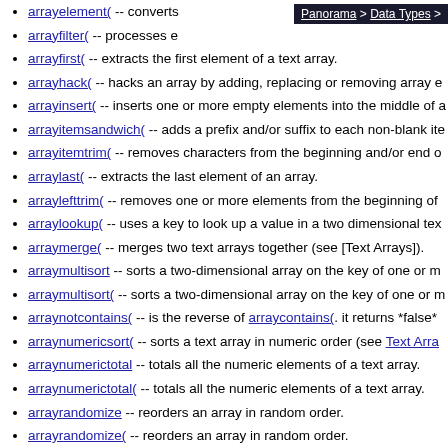Panorama > Data Types >
arrayelement( -- converts
arrayfilter( -- processes e
arrayfirst( -- extracts the first element of a text array.
arrayhack( -- hacks an array by adding, replacing or removing array e
arrayinsert( -- inserts one or more empty elements into the middle of a
arrayitemsandwich( -- adds a prefix and/or suffix to each non-blank ite
arrayitemtrim( -- removes characters from the beginning and/or end o
arraylast( -- extracts the last element of an array.
arraylefttrim( -- removes one or more elements from the beginning of
arraylookup( -- uses a key to look up a value in a two dimensional tex
arraymerge( -- merges two text arrays together (see [Text Arrays]).
arraymultisort -- sorts a two-dimensional array on the key of one or m
arraymultisort( -- sorts a two-dimensional array on the key of one or m
arraynotcontains( -- is the reverse of arraycontains(. it returns *false*
arraynumericsort( -- sorts a text array in numeric order (see Text Arra
arraynumerictotal -- totals all the numeric elements of a text array.
arraynumerictotal( -- totals all the numeric elements of a text array.
arrayrandomize -- reorders an array in random order.
arrayrandomize( -- reorders an array in random order.
arrayrange( -- extracts a series of data items from a text array or a da
arrayrelocate -- moves one or more items in a text array to a new pos
arrayreplacevalue( -- changes array elements that match a specified v
arrayreverse( -- reverses the order of the elements in a text array or a
arrayreverselookup( -- uses a value to look up a key in a two dimensio Arrays).
arraysearch( -- searches a text array or a data array (see Text Arrays
arrayselectedbuild -- builds an array by scanning a database and crea in the database (see Text Arrays).
arrayselectedbuild( -- builds an array by scanning a database and cre in the database (see Text Arrays).